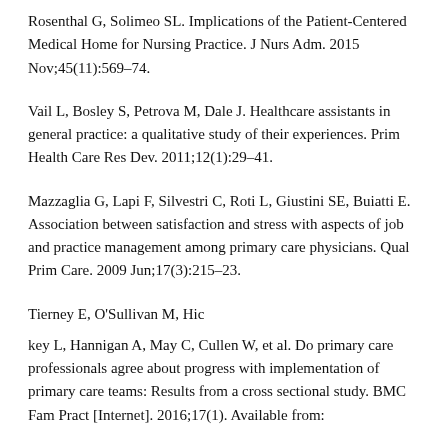Rosenthal G, Solimeo SL. Implications of the Patient-Centered Medical Home for Nursing Practice. J Nurs Adm. 2015 Nov;45(11):569–74.
Vail L, Bosley S, Petrova M, Dale J. Healthcare assistants in general practice: a qualitative study of their experiences. Prim Health Care Res Dev. 2011;12(1):29–41.
Mazzaglia G, Lapi F, Silvestri C, Roti L, Giustini SE, Buiatti E. Association between satisfaction and stress with aspects of job and practice management among primary care physicians. Qual Prim Care. 2009 Jun;17(3):215–23.
Tierney E, O'Sullivan M, Hic
key L, Hannigan A, May C, Cullen W, et al. Do primary care professionals agree about progress with implementation of primary care teams: Results from a cross sectional study. BMC Fam Pract [Internet]. 2016;17(1). Available from: